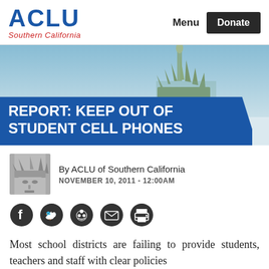ACLU Southern California
[Figure (photo): Statue of Liberty against blue sky, partial view showing crown and face, hero banner image]
REPORT: KEEP OUT OF STUDENT CELL PHONES
By ACLU of Southern California
NOVEMBER 10, 2011 - 12:00AM
[Figure (infographic): Social sharing icons: Facebook, Twitter, Reddit, Email, Print]
Most school districts are failing to provide students, teachers and staff with clear policies